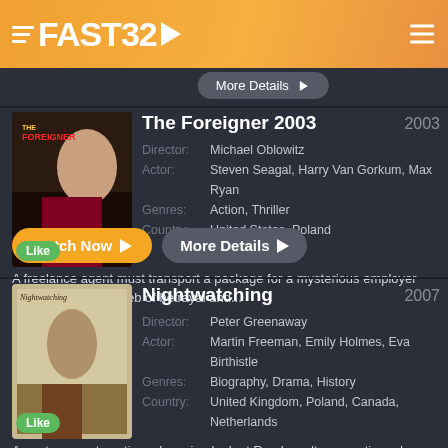FAST32
[Figure (screenshot): Movie card: The Foreigner 2003 with poster image and Like badge]
The Foreigner 2003
Director: Michael Oblowitz
Actor: Steven Seagal, Harry Van Gorkum, Max Ryan
Genres: Action, Thriller
Country: United States, Poland
A freelance agent must transport a package for a mysterious employer leading him into a web of betrayal and...
[Figure (screenshot): Movie card: Nightwatching 2007 with poster image and Like badge]
Nightwatching
Director: Peter Greenaway
Actor: Martin Freeman, Emily Holmes, Eva Birthistle
Genres: Biography, Drama, History
Country: United Kingdom, Poland, Canada, Netherlands
An extravagant exotic and moving look at Rembrandts romantic and professional life and the controversy he created by the identification of a murderer in the painting